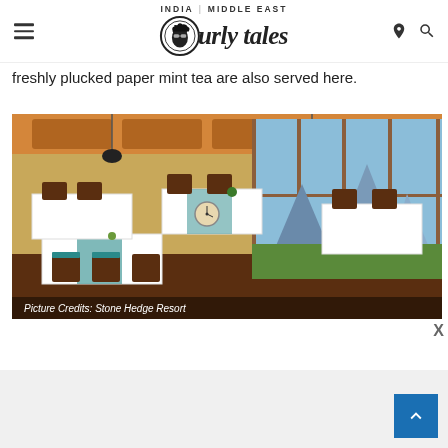Curly Tales — INDIA | MIDDLE EAST
freshly plucked paper mint tea are also served here.
[Figure (photo): Interior of a restaurant with wooden ceiling, pendant lights, large floor-to-ceiling windows with mountain views, tables set with white tablecloths and teal blue accents/napkins, wooden chairs.]
Picture Credits: Stone Hedge Resort